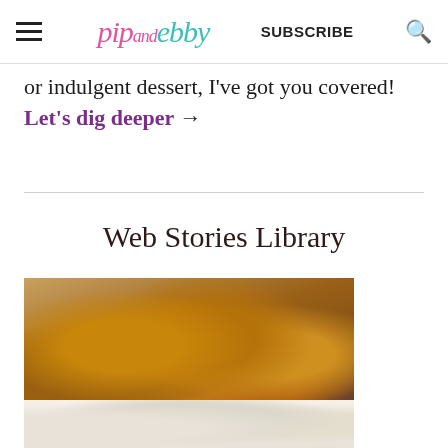pip and ebby — SUBSCRIBE [search icon]
or indulgent dessert, I've got you covered! Let's dig deeper →
Web Stories Library
[Figure (photo): Close-up photo of blueberry muffins stacked on top of each other, showing golden brown tops with visible blueberries, on a blurred purple/dark background]
[Figure (photo): Partial view of a second food photo, appears to show a light-colored baked good or dessert, partially visible at the bottom of the page]